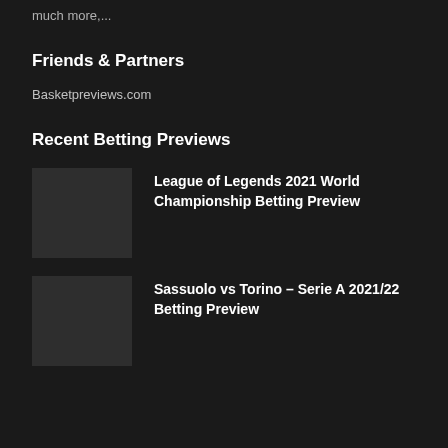much more,...
Friends & Partners
Basketpreviews.com
Recent Betting Previews
[Figure (photo): Thumbnail image placeholder for League of Legends article]
League of Legends 2021 World Championship Betting Preview
[Figure (photo): Thumbnail image placeholder for Sassuolo vs Torino article]
Sassuolo vs Torino – Serie A 2021/22 Betting Preview